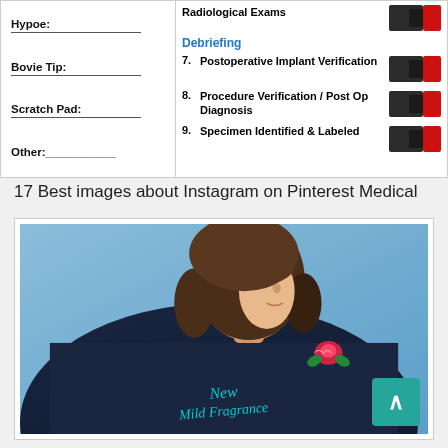[Figure (other): Partial view of a surgical/medical checklist form showing fields for Bovie Tip, Scratch Pad, Other, and Debriefing items 7-9 (Postoperative Implant Verification, Procedure Verification/Post Op Diagnosis, Specimen Identified & Labeled) with toggle switches]
17 Best images about Instagram on Pinterest Medical
[Figure (photo): Vintage-style photo of a young woman with a bob haircut seen from behind/side, wearing a dark denim jacket with 'New Mild Fragrance' written on the back and a rose embroidery, against a blue background]